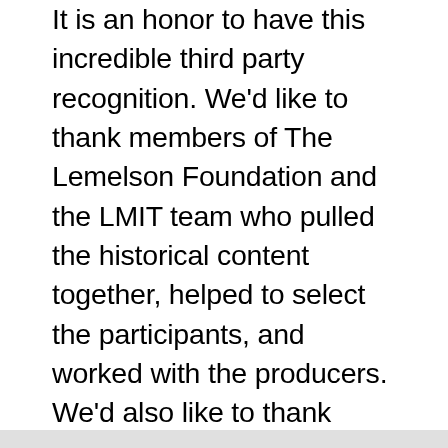It is an honor to have this incredible third party recognition. We'd like to thank members of The Lemelson Foundation and the LMIT team who pulled the historical content together, helped to select the participants, and worked with the producers. We'd also like to thank Maiia Mark productions for their vision, patience and persistence in creating a film that not only showcases the impact of our Student Prize program, but highlights the importance of creating the “pathway” for our young inventors.